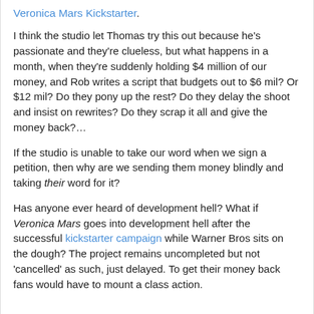Veronica Mars Kickstarter.
I think the studio let Thomas try this out because he's passionate and they're clueless, but what happens in a month, when they're suddenly holding $4 million of our money, and Rob writes a script that budgets out to $6 mil?  Or $12 mil?  Do they pony up the rest?  Do they delay the shoot and insist on rewrites?  Do they scrap it all and give the money back?…
If the studio is unable to take our word when we sign a petition, then why are we sending them money blindly and taking their word for it?
Has anyone ever heard of development hell?  What if Veronica Mars goes into development hell after the successful kickstarter campaign while Warner Bros sits on the dough?  The project remains uncompleted but not 'cancelled' as such, just delayed.  To get their money back fans would have to mount a class action.